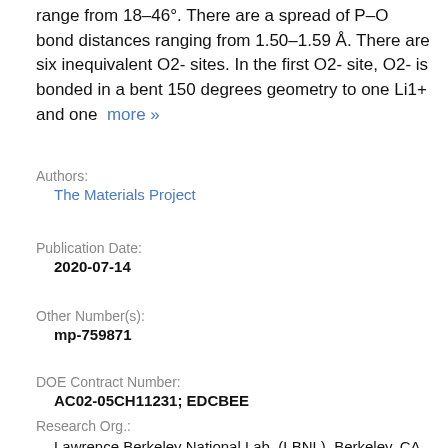range from 18–46°. There are a spread of P–O bond distances ranging from 1.50–1.59 Å. There are six inequivalent O2- sites. In the first O2- site, O2- is bonded in a bent 150 degrees geometry to one Li1+ and one  more »
Authors:
    The Materials Project
Publication Date:
    2020-07-14
Other Number(s):
    mp-759871
DOE Contract Number:
    AC02-05CH11231; EDCBEE
Research Org.:
    Lawrence Berkeley National Lab. (LBNL), Berkeley, CA (United States). LBNL Materials Project